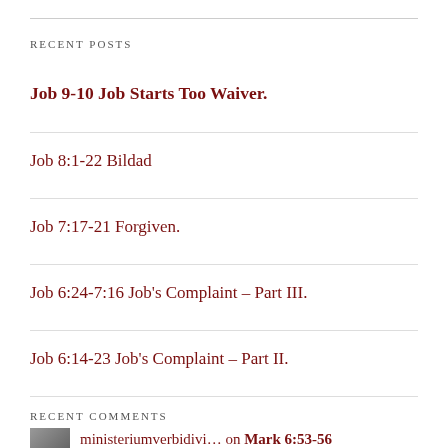RECENT POSTS
Job 9-10 Job Starts Too Waiver.
Job 8:1-22 Bildad
Job 7:17-21 Forgiven.
Job 6:24-7:16 Job's Complaint – Part III.
Job 6:14-23 Job's Complaint – Part II.
RECENT COMMENTS
ministeriumverbidivi… on Mark 6:53-56